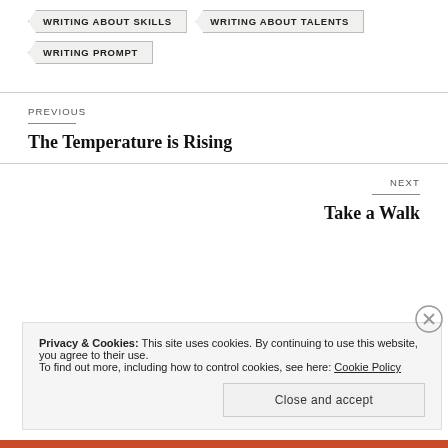WRITING ABOUT SKILLS
WRITING ABOUT TALENTS
WRITING PROMPT
PREVIOUS
The Temperature is Rising
NEXT
Take a Walk
Privacy & Cookies: This site uses cookies. By continuing to use this website, you agree to their use.
To find out more, including how to control cookies, see here: Cookie Policy
Close and accept